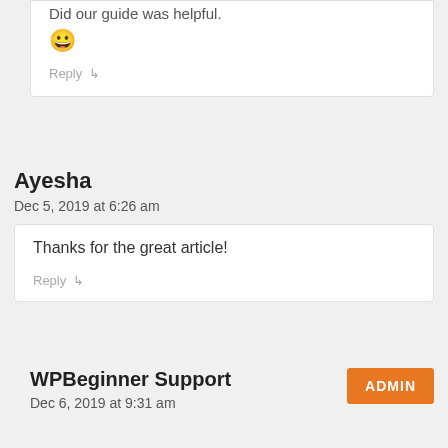Did our guide was helpful.
😀
Reply ↳
Ayesha
Dec 5, 2019 at 6:26 am
Thanks for the great article!
Reply ↳
WPBeginner Support
ADMIN
Dec 6, 2019 at 9:31 am